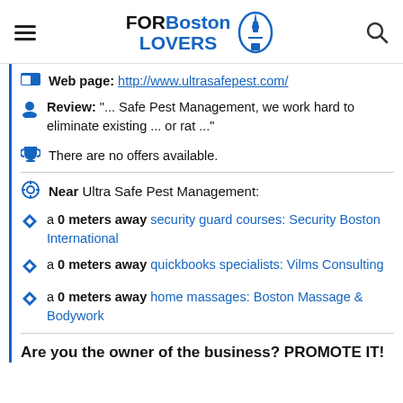FORBoston LOVERS
Web page: http://www.ultrasafepest.com/
Review: "... Safe Pest Management, we work hard to eliminate existing ... or rat ..."
There are no offers available.
Near Ultra Safe Pest Management:
a 0 meters away security guard courses: Security Boston International
a 0 meters away quickbooks specialists: Vilms Consulting
a 0 meters away home massages: Boston Massage & Bodywork
Are you the owner of the business? PROMOTE IT!